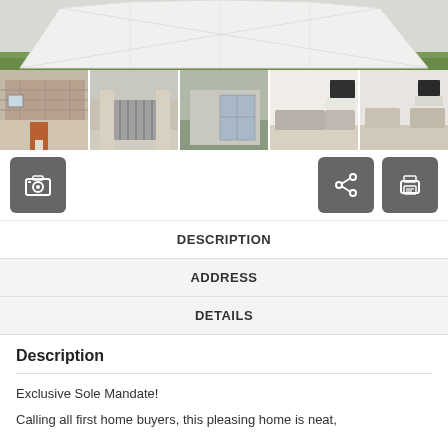[Figure (photo): Top photo strip showing a large white tent/marquee structure on a grassy area]
[Figure (photo): Row of 5 property thumbnail photos: brick house exterior, gated entrance, modern exterior angle, interior living room, another interior room]
[Figure (screenshot): Camera icon button, share button, and print button row]
DESCRIPTION
ADDRESS
DETAILS
Description
Exclusive Sole Mandate!
Calling all first home buyers, this pleasing home is neat,